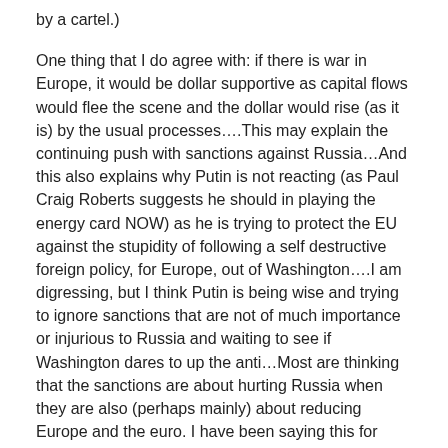by a cartel.)
One thing that I do agree with: if there is war in Europe, it would be dollar supportive as capital flows would flee the scene and the dollar would rise (as it is) by the usual processes....This may explain the continuing push with sanctions against Russia...And this also explains why Putin is not reacting (as Paul Craig Roberts suggests he should in playing the energy card NOW) as he is trying to protect the EU against the stupidity of following a self destructive foreign policy, for Europe, out of Washington....I am digressing, but I think Putin is being wise and trying to ignore sanctions that are not of much importance or injurious to Russia and waiting to see if Washington dares to up the anti...Most are thinking that the sanctions are about hurting Russia when they are also (perhaps mainly) about reducing Europe and the euro. I have been saying this for months, and Putin knows that playing the energy card against European stupidity WOULD hurt Russia....
And perhaps the disreputable points he makes are his timings statements. Nobody on the planet has the intellectual prowess to predict what and when in a global economy.